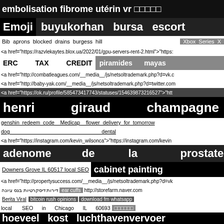embolisation fibrome utérin vr □□□□□
Emoji   buyukorhan   bursa   escort
Bib   aprons   blocked   drains   burgess   hill   Xbox   Series   X
<a href="https://razvlekaytes.blox.ua/2022/01/gpu-servers-rent-2.html">"https:
ERC   TAX   CREDIT   piramides   mayas
<a href="http://combatleagues.com/__media__/js/netsoltrademark.php?d=vk.c
<a href="http://baby-yak.com/__media__/js/netsoltrademark.php?d=twitter.com
<a href="https://ok.ru/profile/585473417743/statuses/154639873216527">"htt
henri   giraud   champagne
genshin   redeem   code   Medicap   flower   delivery   for   tomorrow
dog   dental
<a href="https://instagram.com/kevin_wilsonca">"https://instagram.com/kevin
adenome   de   la   prostate
Downers Grove IL 60517 local SEO   cabinet painting
<a href="http://propertysuccess.com/__media__/js/netsoltrademark.php?d=vk
דירות דיסקרטיות בנס ציונה   ear cuffs   http://storefarm.naver.com
Berita Viral   bitcoin rush opinions   download fm whatsapp
local   SEO   in   Chicago   IL   60693   □□□□□□
<a href="https://events.timely.fun/vg5dggoa/event/68989081">"https://events.t
hoeveel   kost   luchthavenvervoer
<a href="http://qhcdev.com/__media__/js/netsoltrademark.php?d=twitter.com%
computer   repair   las   vegas
اسنک‌بار دایره   □□□□□□□ UFABET □□□□□□
50000   instagram   followers